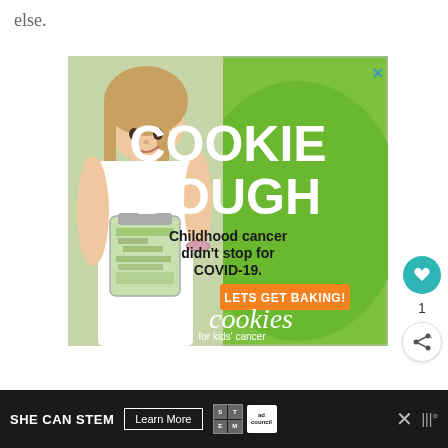else.
[Figure (photo): Advertisement for Cookies for Kids' Cancer. Green background with a smiling girl holding a jar of money. Large white text reads COOKIE DOUGH. Black text: Childhood cancer didn't stop for COVID-19. Orange button: LETS GET BAKING! Cookies for kids' cancer logo at bottom. Close X button top right.]
SHE CAN STEM  Learn More  [STEM logo] [Ad Council logo] X